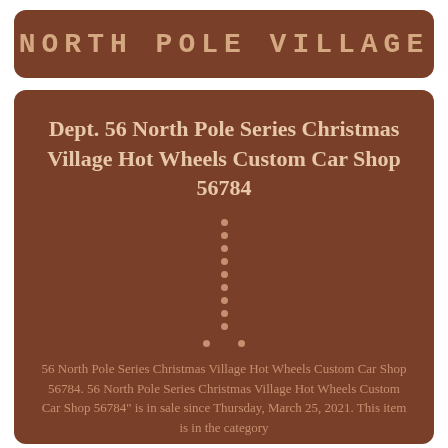NORTH POLE VILLAGE
Dept. 56 North Pole Series Christmas Village Hot Wheels Custom Car Shop 56784
[Figure (other): Vertical column of 9 decorative dots followed by 2 horizontal dots, suggesting an image placeholder or loading indicator]
56 North Pole Series Christmas Village Hot Wheels Custom Car Shop 56784. 56 North Pole Series Christmas Village Hot Wheels Custom Car Shop 56784" is in sale since Thursday, March 25, 2021. This item is in the category